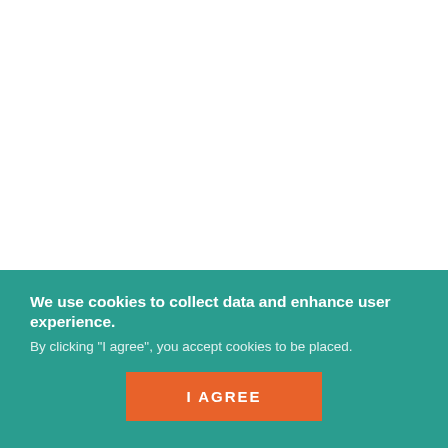Remember, however, that some transactions may require a particular number of verifications within the network. It depends on the type of cryptocurrency
We use cookies to collect data and enhance user experience. By clicking "I agree", you accept cookies to be placed. I AGREE